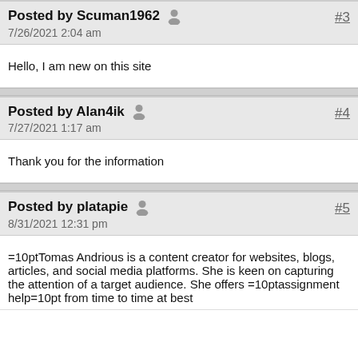Posted by Scuman1962 #3
7/26/2021 2:04 am
Hello, I am new on this site
Posted by Alan4ik #4
7/27/2021 1:17 am
Thank you for the information
Posted by platapie #5
8/31/2021 12:31 pm
=10ptTomas Andrious is a content creator for websites, blogs, articles, and social media platforms. She is keen on capturing the attention of a target audience. She offers =10ptassignment help=10pt from time to time at best